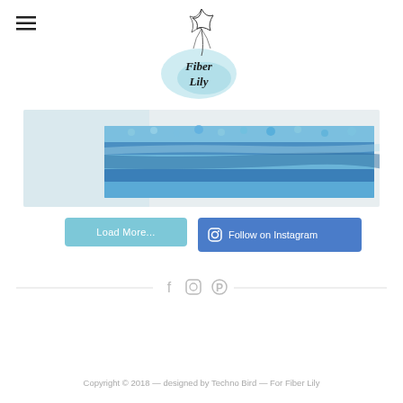[Figure (logo): Fiber Lily logo with a lily flower illustration and cursive text reading 'Fiber Lily' with a watercolor teal background splash]
[Figure (photo): Close-up photo of blue and teal knitted or crocheted fabric folded, showing texture of yarn]
Load More...
Follow on Instagram
[Figure (infographic): Row of social media icons: Facebook, Instagram, Pinterest separated by horizontal lines]
Copyright © 2018 — designed by Techno Bird — For Fiber Lily